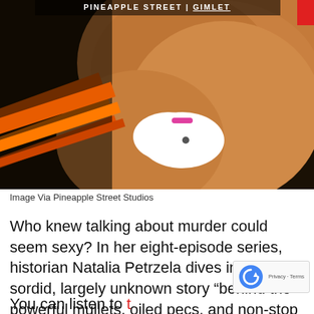[Figure (photo): Book or podcast cover image showing a close-up of a person's torso wearing a white garment, with orange/red diagonal stripes on the left side against a dark background. Text at top reads 'PINEAPPLE STREET | GIMLET'.]
Image Via Pineapple Street Studios
Who knew talking about murder could seem sexy? In her eight-episode series, historian Natalia Petrzela dives into the sordid, largely unknown story “behind the powerful mullets, oiled pecs, and non-stop parties” of the Chippendales dancers. The twisted tale tracks how to mastermind Steve Banerjee built the male revue into a phenomenon—and how drugs, greed, and crime tore it all down.
You can listen to...